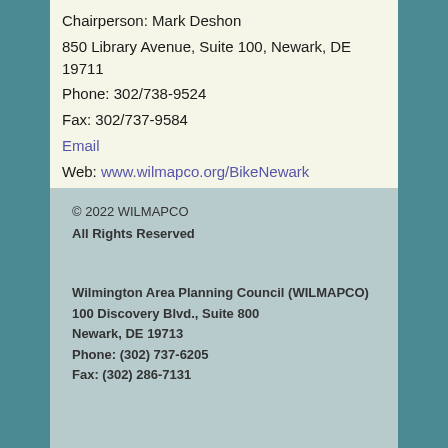Chairperson: Mark Deshon
850 Library Avenue, Suite 100, Newark, DE 19711
Phone: 302/738-9524
Fax: 302/737-9584
Email
Web: www.wilmapco.org/BikeNewark
© 2022 WILMAPCO
All Rights Reserved

Wilmington Area Planning Council (WILMAPCO)
100 Discovery Blvd., Suite 800
Newark, DE 19713
Phone: (302) 737-6205
Fax: (302) 286-7131